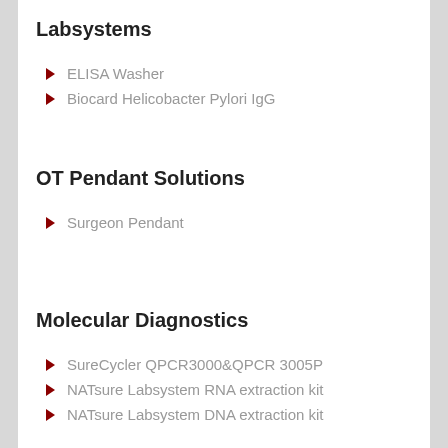Labsystems
ELISA Washer
Biocard Helicobacter Pylori IgG
OT Pendant Solutions
Surgeon Pendant
Molecular Diagnostics
SureCycler QPCR3000&QPCR 3005P
NATsure Labsystem RNA extraction kit
NATsure Labsystem DNA extraction kit